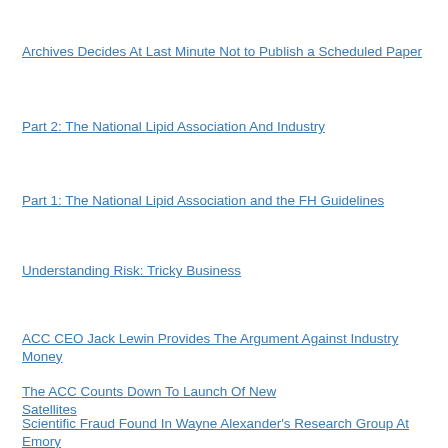Archives Decides At Last Minute Not to Publish a Scheduled Paper
Part 2: The National Lipid Association And Industry
Part 1: The National Lipid Association and the FH Guidelines
Understanding Risk: Tricky Business
ACC CEO Jack Lewin Provides The Argument Against Industry Money
The ACC Counts Down To Launch Of New Satellites
Scientific Fraud Found In Wayne Alexander's Research Group At Emory